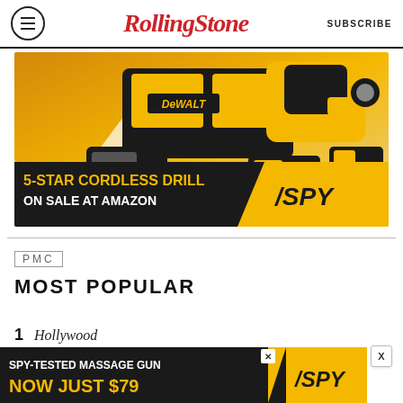RollingStone — SUBSCRIBE
[Figure (illustration): DeWalt cordless drill advertisement showing drill, battery, charger and tool bag. Text: 5-STAR CORDLESS DRILL ON SALE AT AMAZON / SPY]
PMC MOST POPULAR
1 Hollywood
[Figure (illustration): SPY advertisement banner: SPY-TESTED MASSAGE GUN NOW JUST $79]